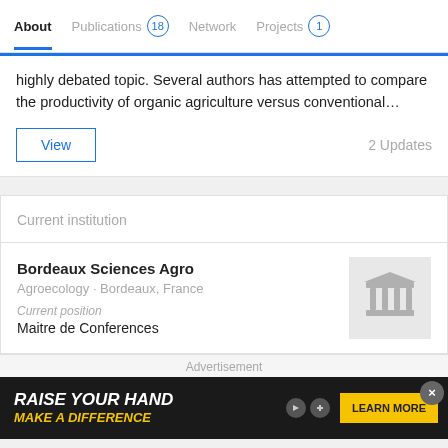About  Publications 18  Network  Projects 1
highly debated topic. Several authors has attempted to compare the productivity of organic agriculture versus conventional…
View  2 Updates
Current institution
Bordeaux Sciences Agro
Agroecology · Bordeaux, France
Current position
Maitre de Conferences
Advertisement
[Figure (screenshot): Advertisement banner: RAISE YOUR HAND / MAKE A DIFFERENCE with LEARN MORE button]